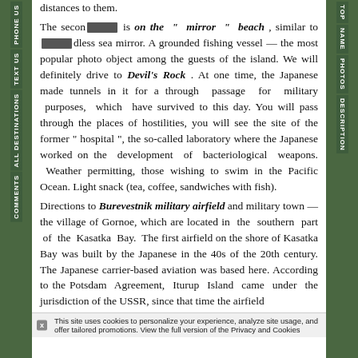distances to them. The second stop is on the " mirror " beach , similar to [redacted]less sea mirror. A grounded fishing vessel — the most popular photo object among the guests of the island. We will definitely drive to Devil's Rock . At one time, the Japanese made tunnels in it for a through passage for military purposes, which have survived to this day. You will pass through the places of hostilities, you will see the site of the former " hospital ", the so-called laboratory where the Japanese worked on the development of bacteriological weapons. Weather permitting, those wishing to swim in the Pacific Ocean. Light snack (tea, coffee, sandwiches with fish). Directions to Burevestnik military airfield and military town — the village of Gornoe, which are located in the southern part of the Kasatka Bay. The first airfield on the shore of Kasatka Bay was built by the Japanese in the 40s of the 20th century. The Japanese carrier-based aviation was based here. According to the Potsdam Agreement, Iturup Island came under the jurisdiction of the USSR, since that time the airfield [began] to be used by Soviet aviation. The military town in the village of Gornoe...
This site uses cookies to personalize your experience, analyze site usage, and offer tailored promotions. View the full version of the Privacy and Cookies